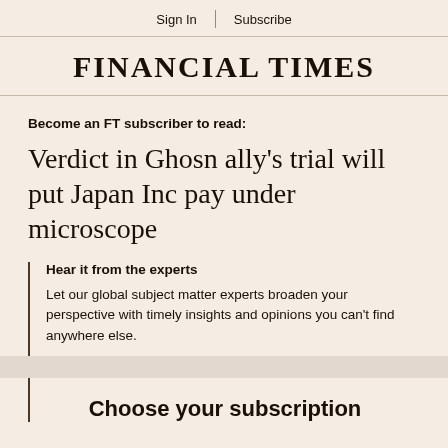Sign In | Subscribe
FINANCIAL TIMES
Become an FT subscriber to read:
Verdict in Ghosn ally's trial will put Japan Inc pay under microscope
Hear it from the experts
Let our global subject matter experts broaden your perspective with timely insights and opinions you can't find anywhere else.
Choose your subscription